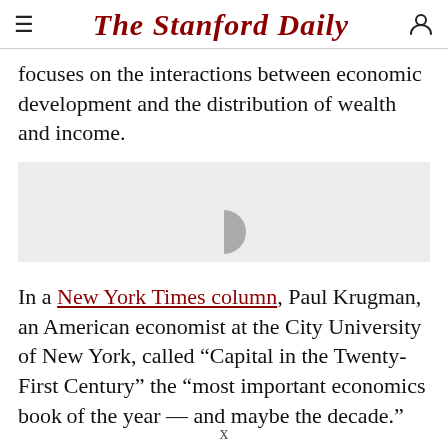The Stanford Daily
focuses on the interactions between economic development and the distribution of wealth and income.
[Figure (other): Loading image placeholder with a partially visible circular spinner/loading icon on a grey background]
In a New York Times column, Paul Krugman, an American economist at the City University of New York, called “Capital in the Twenty-First Century” the “most important economics book of the year — and maybe the decade.”
In his lecture, Piketty stated that wealth and
x